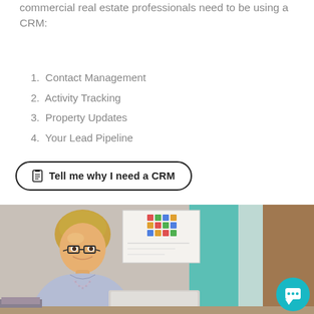commercial real estate professionals need to be using a CRM:
1. Contact Management
2. Activity Tracking
3. Property Updates
4. Your Lead Pipeline
Tell me why I need a CRM
[Figure (photo): A smiling blonde professional woman wearing glasses and a light blue shirt, sitting at a desk with a laptop in an office environment with a teal wall and whiteboard in the background. A teal chat button is visible in the bottom right corner.]